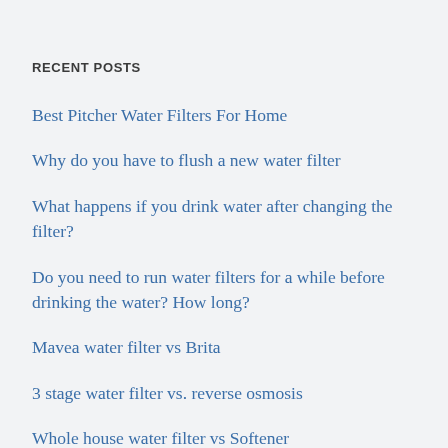RECENT POSTS
Best Pitcher Water Filters For Home
Why do you have to flush a new water filter
What happens if you drink water after changing the filter?
Do you need to run water filters for a while before drinking the water? How long?
Mavea water filter vs Brita
3 stage water filter vs. reverse osmosis
Whole house water filter vs Softener
Best kettle with a limescale filter